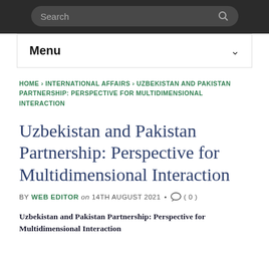Search
Menu
HOME › INTERNATIONAL AFFAIRS › UZBEKISTAN AND PAKISTAN PARTNERSHIP: PERSPECTIVE FOR MULTIDIMENSIONAL INTERACTION
Uzbekistan and Pakistan Partnership: Perspective for Multidimensional Interaction
BY WEB EDITOR on 14TH AUGUST 2021 • ( 0 )
Uzbekistan and Pakistan Partnership: Perspective for Multidimensional Interaction